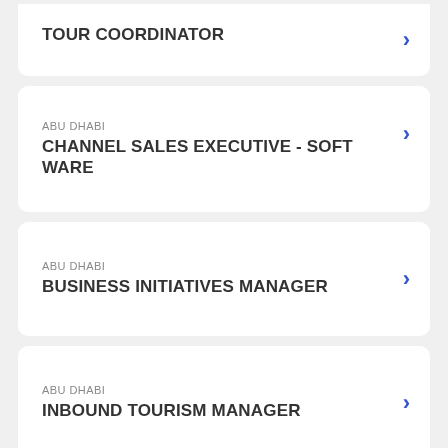TOUR COORDINATOR
ABU DHABI — CHANNEL SALES EXECUTIVE - SOFT WARE
ABU DHABI — BUSINESS INITIATIVES MANAGER
ABU DHABI — INBOUND TOURISM MANAGER
ABU DHABI — BUSINESS DEVELOPMENT EXECUTI